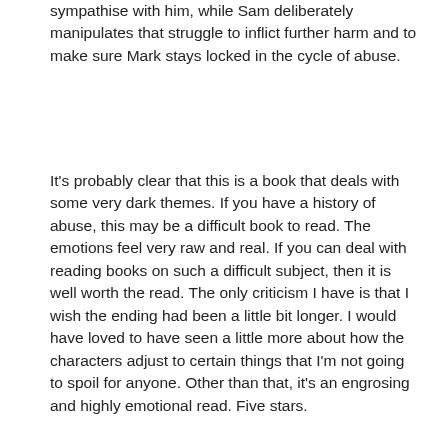sympathise with him, while Sam deliberately manipulates that struggle to inflict further harm and to make sure Mark stays locked in the cycle of abuse.
It's probably clear that this is a book that deals with some very dark themes. If you have a history of abuse, this may be a difficult book to read. The emotions feel very raw and real. If you can deal with reading books on such a difficult subject, then it is well worth the read. The only criticism I have is that I wish the ending had been a little bit longer. I would have loved to have seen a little more about how the characters adjust to certain things that I'm not going to spoil for anyone. Other than that, it's an engrosing and highly emotional read. Five stars.